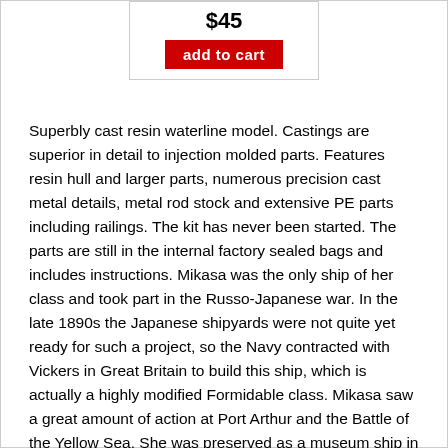$45
add to cart
Superbly cast resin waterline model. Castings are superior in detail to injection molded parts. Features resin hull and larger parts, numerous precision cast metal details, metal rod stock and extensive PE parts including railings. The kit has never been started. The parts are still in the internal factory sealed bags and includes instructions. Mikasa was the only ship of her class and took part in the Russo-Japanese war. In the late 1890s the Japanese shipyards were not quite yet ready for such a project, so the Navy contracted with Vickers in Great Britain to build this ship, which is actually a highly modified Formidable class. Mikasa saw a great amount of action at Port Arthur and the Battle of the Yellow Sea. She was preserved as a museum ship in 1923. Mikasa suffered from neglect during and after WWII, but was restored to her former glory in the 1950s after a campaign led by the Japan